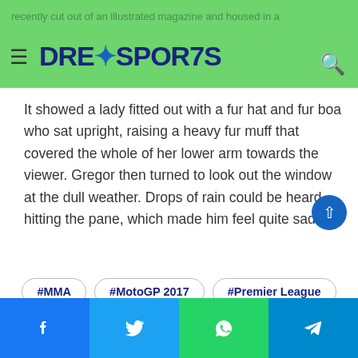recently cut out of an illustrated magazine and housed in a
DREXSPORTS
It showed a lady fitted out with a fur hat and fur boa who sat upright, raising a heavy fur muff that covered the whole of her lower arm towards the viewer. Gregor then turned to look out the window at the dull weather. Drops of rain could be heard hitting the pane, which made him feel quite sad.
#MMA
#MotoGP 2017
#Premier League
#The Presidents Cup
#UFC
#Valentino Rossi
Facebook | Twitter | WhatsApp | Telegram